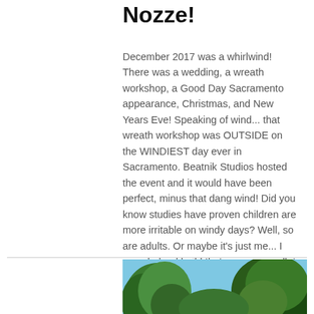Nozze!
December 2017 was a whirlwind! There was a wedding, a wreath workshop, a Good Day Sacramento appearance, Christmas, and New Years Eve! Speaking of wind... that wreath workshop was OUTSIDE on the WINDIEST day ever in Sacramento. Beatnik Studios hosted the event and it would have been perfect, minus that dang wind! Did you know studies have proven children are more irritable on windy days? Well, so are adults. Or maybe it's just me... I even helped build that awesome pallet wal
[Figure (photo): Outdoor photo showing trees with green foliage against a blue sky]